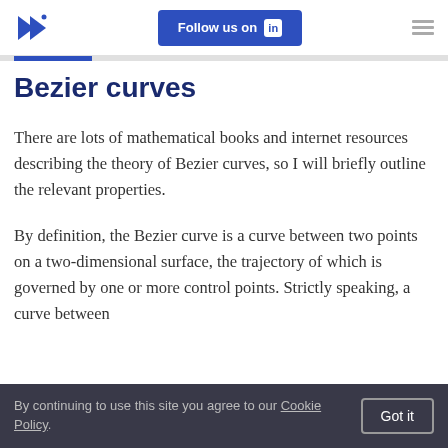Follow us on LinkedIn
Bezier curves
There are lots of mathematical books and internet resources describing the theory of Bezier curves, so I will briefly outline the relevant properties.
By definition, the Bezier curve is a curve between two points on a two-dimensional surface, the trajectory of which is governed by one or more control points. Strictly speaking, a curve between
By continuing to use this site you agree to our Cookie Policy. Got it